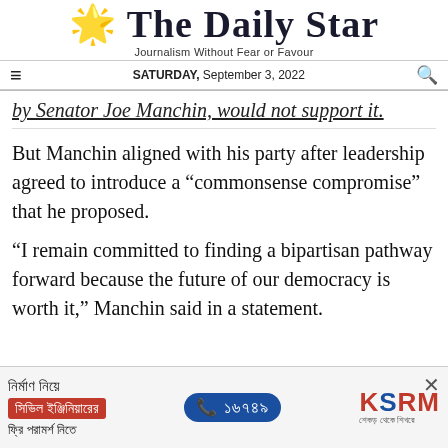The Daily Star
Journalism Without Fear or Favour
SATURDAY, September 3, 2022
by Senator Joe Manchin, would not support it.
But Manchin aligned with his party after leadership agreed to introduce a "commonsense compromise" that he proposed.
"I remain committed to finding a bipartisan pathway forward because the future of our democracy is worth it," Manchin said in a statement.
[Figure (infographic): Advertisement banner in Bengali for KSRM civil engineering consultation service with phone number 16749]